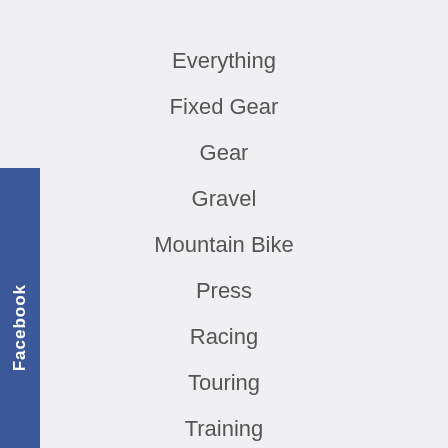Everything
Fixed Gear
Gear
Gravel
Mountain Bike
Press
Racing
Touring
Training
Travel
Video
Facebook